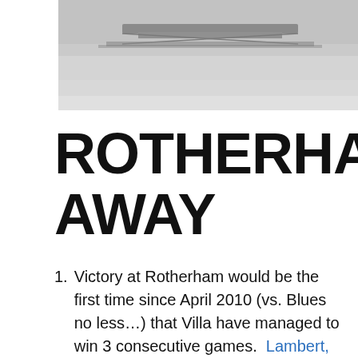[Figure (photo): A road or tarmac surface with metal barriers/fencing visible, photographed outdoors in daylight.]
ROTHERHAM AWAY
Victory at Rotherham would be the first time since April 2010 (vs. Blues no less…) that Villa have managed to win 3 consecutive games. Lambert, McLeish, Houllier, Sherwood, Garde & Di Matteo